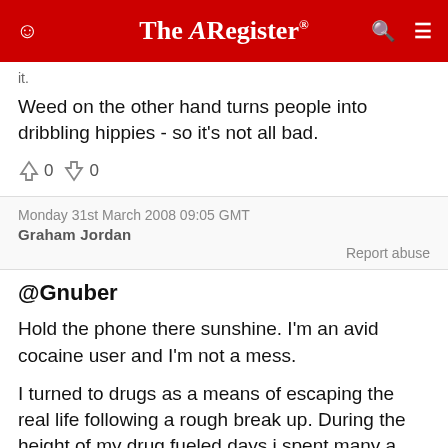The Register
it.
Weed on the other hand turns people into dribbling hippies - so it's not all bad.
↑0  ↓0
Monday 31st March 2008 09:05 GMT
Graham Jordan
Report abuse
@Gnuber
Hold the phone there sunshine. I'm an avid cocaine user and I'm not a mess.
I turned to drugs as a means of escaping the real life following a rough break up. During the height of my drug fueled days i spent many a weekend dribbling in a corner whacked out of my face on Ecstasy, Speed, Cocaine and Mushrooms. On the very rare occasion